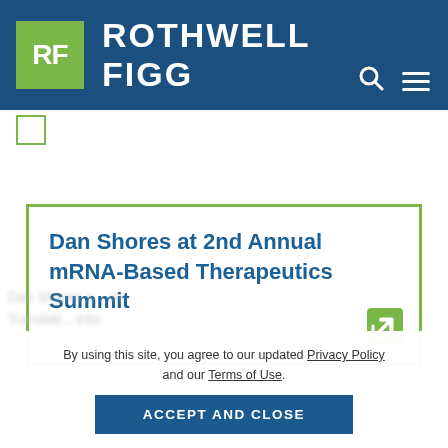ROTHWELL FIGG
[Figure (logo): Rothwell Figg law firm logo with green RF square and dark blue banner with firm name]
Dan Shores at 2nd Annual mRNA-Based Therapeutics Summit
By using this site, you agree to our updated Privacy Policy and our Terms of Use.
ACCEPT AND CLOSE